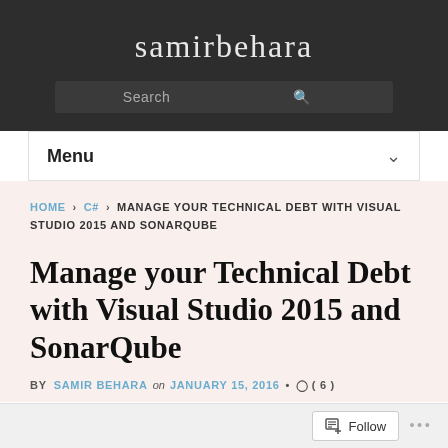samirbehara
Search
Menu
HOME › C# › MANAGE YOUR TECHNICAL DEBT WITH VISUAL STUDIO 2015 AND SONARQUBE
Manage your Technical Debt with Visual Studio 2015 and SonarQube
BY SAMIR BEHARA on JANUARY 15, 2016 • ( 6 )
Follow